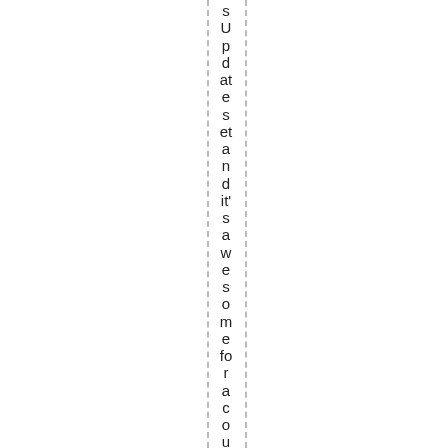sUpdates et and it's awesome for a couple rea...